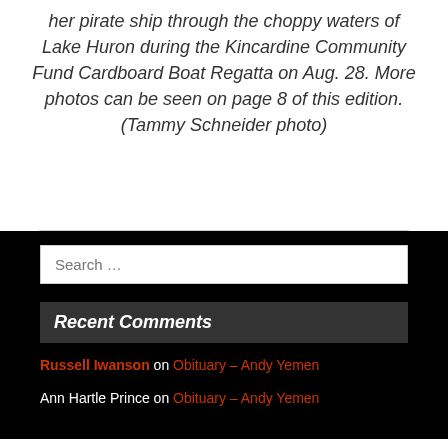her pirate ship through the choppy waters of Lake Huron during the Kincardine Community Fund Cardboard Boat Regatta on Aug. 28. More photos can be seen on page 8 of this edition. (Tammy Schneider photo)
Recent Comments
Russell Iwanson on Obituary – Andy Yemen
Ann Hartle Prince on Obituary – Andy Yemen